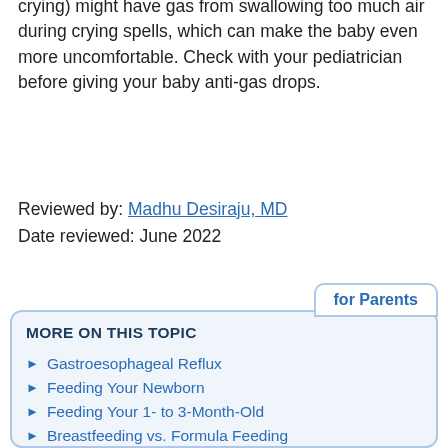crying) might have gas from swallowing too much air during crying spells, which can make the baby even more uncomfortable. Check with your pediatrician before giving your baby anti-gas drops.
Reviewed by: Madhu Desiraju, MD
Date reviewed: June 2022
for Parents
MORE ON THIS TOPIC
Gastroesophageal Reflux
Feeding Your Newborn
Feeding Your 1- to 3-Month-Old
Breastfeeding vs. Formula Feeding
Nursing Positions
Pregnancy Center